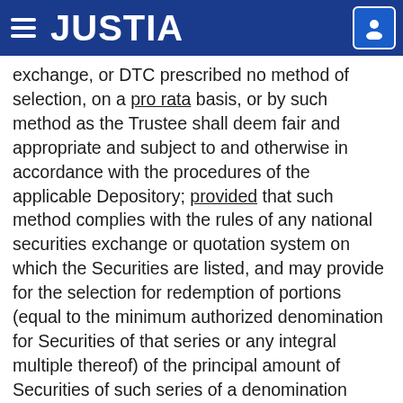JUSTIA
exchange, or DTC prescribed no method of selection, on a pro rata basis, or by such method as the Trustee shall deem fair and appropriate and subject to and otherwise in accordance with the procedures of the applicable Depository; provided that such method complies with the rules of any national securities exchange or quotation system on which the Securities are listed, and may provide for the selection for redemption of portions (equal to the minimum authorized denomination for Securities of that series or any integral multiple thereof) of the principal amount of Securities of such series of a denomination larger than the minimum authorized denomination for Securities of that series; provided, however, that no such partial redemption shall reduce the portion of the principal amount of a Security not redeemed to less than the minimum authorized denomination for Securities of such series."